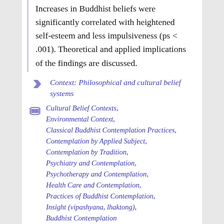Increases in Buddhist beliefs were significantly correlated with heightened self-esteem and less impulsiveness (ps < .001). Theoretical and applied implications of the findings are discussed.
Context: Philosophical and cultural belief systems
Cultural Belief Contexts, Environmental Context, Classical Buddhist Contemplation Practices, Contemplation by Applied Subject, Contemplation by Tradition, Psychiatry and Contemplation, Psychotherapy and Contemplation, Health Care and Contemplation, Practices of Buddhist Contemplation, Insight (vipashyana, lhaktong), Buddhist Contemplation